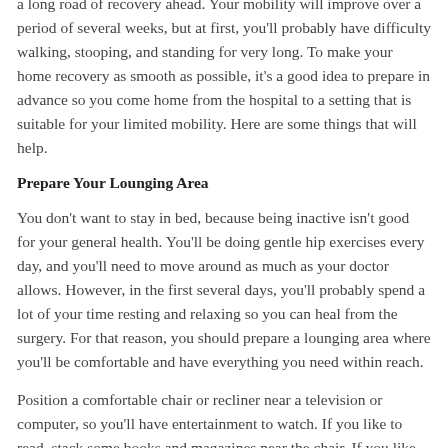a long road of recovery ahead. Your mobility will improve over a period of several weeks, but at first, you'll probably have difficulty walking, stooping, and standing for very long. To make your home recovery as smooth as possible, it's a good idea to prepare in advance so you come home from the hospital to a setting that is suitable for your limited mobility. Here are some things that will help.
Prepare Your Lounging Area
You don't want to stay in bed, because being inactive isn't good for your general health. You'll be doing gentle hip exercises every day, and you'll need to move around as much as your doctor allows. However, in the first several days, you'll probably spend a lot of your time resting and relaxing so you can heal from the surgery. For that reason, you should prepare a lounging area where you'll be comfortable and have everything you need within reach.
Position a comfortable chair or recliner near a television or computer, so you'll have entertainment to watch. If you like to read, stack some books and magazines near the chair. If you like to knit or crochet, have